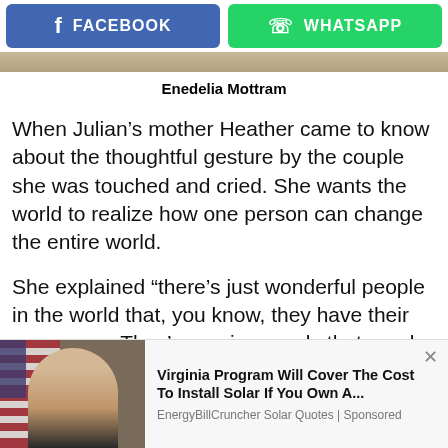[Figure (other): Facebook and WhatsApp share buttons — blue Facebook button on left, green WhatsApp button on right]
[Figure (photo): Partial image strip at top, cropped photo]
Enedelia Mottram
When Julian's mother Heather came to know about the thoughtful gesture by the couple she was touched and cried. She wants the world to realize how one person can change the entire world.
She explained “there’s just wonderful people in the world that, you know, they have their eyes open. They’re seeing needs that need to be met and they’re
[Figure (screenshot): Advertisement: photo of a woman in front of an American flag, with headline 'Virginia Program Will Cover The Cost To Install Solar If You Own A...' from EnergyBillCruncher Solar Quotes | Sponsored, with close (x) button]